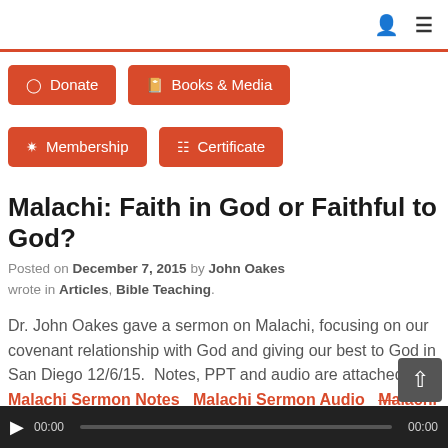Donate
Books & Media
Membership
Certificate
Malachi: Faith in God or Faithful to God?
Posted on December 7, 2015 by John Oakes wrote in Articles, Bible Teaching.
Dr. John Oakes gave a sermon on Malachi, focusing on our covenant relationship with God and giving our best to God in San Diego 12/6/15.  Notes, PPT and audio are attached.  Malachi Sermon Notes   Malachi Sermon Audio   Malachi Sermon PPT